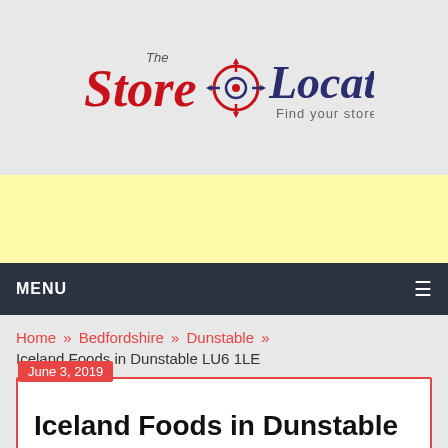[Figure (logo): The Store Locator logo with red script text, a target/crosshair icon, and dark blue 'Locator' text. Tagline: 'Find your store']
[Figure (other): Yellow advertisement banner area]
MENU
Home » Bedfordshire » Dunstable »
Iceland Foods in Dunstable LU6 1LE
June 3, 2019
Iceland Foods in Dunstable LU6 1LE